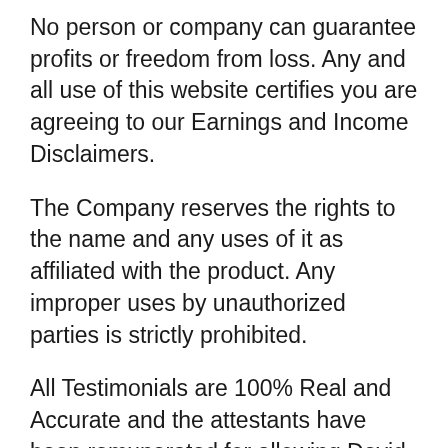No person or company can guarantee profits or freedom from loss. Any and all use of this website certifies you are agreeing to our Earnings and Income Disclaimers.
The Company reserves the rights to the name and any uses of it as affiliated with the product. Any improper uses by unauthorized parties is strictly prohibited.
All Testimonials are 100% Real and Accurate and the attestants have been remunerated for allowing Devid Farah Marketing, LLC's use of the same. For the sake of customer privacy, Devid Farah Marketing, LLC reserves the right to protect and/or substitute the images of attestants.